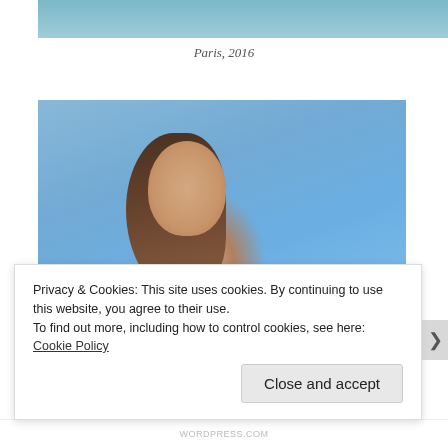[Figure (photo): Top portion of a photo showing a person near a railing, partially cropped at the top of the page]
Paris, 2016
[Figure (photo): A smiling woman with long brown hair wearing a striped shirt, standing in front of a blue textured wall]
Privacy & Cookies: This site uses cookies. By continuing to use this website, you agree to their use.
To find out more, including how to control cookies, see here: Cookie Policy
Close and accept